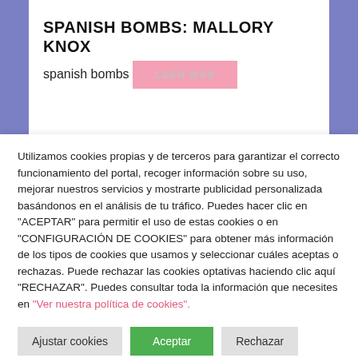SPANISH BOMBS: MALLORY KNOX
spanish bombs
LEER MÁS
Utilizamos cookies propias y de terceros para garantizar el correcto funcionamiento del portal, recoger información sobre su uso, mejorar nuestros servicios y mostrarte publicidad personalizada basándonos en el análisis de tu tráfico. Puedes hacer clic en "ACEPTAR" para permitir el uso de estas cookies o en "CONFIGURACIÓN DE COOKIES" para obtener más información de los tipos de cookies que usamos y seleccionar cuáles aceptas o rechazas. Puede rechazar las cookies optativas haciendo clic aquí "RECHAZAR". Puedes consultar toda la información que necesites en "Ver nuestra política de cookies".
Ajustar cookies | Aceptar | Rechazar